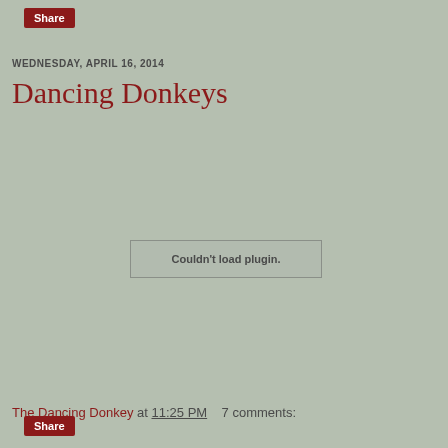Share
WEDNESDAY, APRIL 16, 2014
Dancing Donkeys
[Figure (screenshot): Embedded plugin area showing 'Couldn't load plugin.' message in a bordered box on a sage green background]
The Dancing Donkey at 11:25 PM    7 comments: